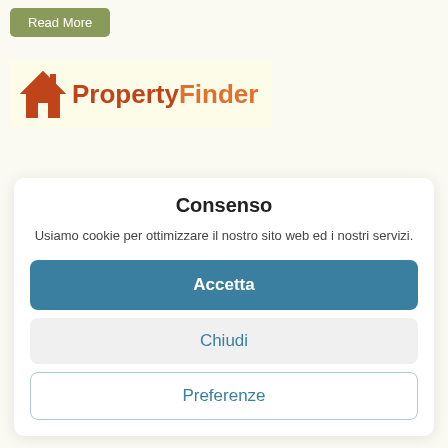[Figure (logo): Read More button (olive/green rounded rectangle) at top left]
[Figure (logo): PropertyFinder logo: orange house icon with 'Property' in red-orange and 'Finder' in orange text on a pale yellow background]
Consenso
Usiamo cookie per ottimizzare il nostro sito web ed i nostri servizi.
Accetta
Chiudi
Preferenze